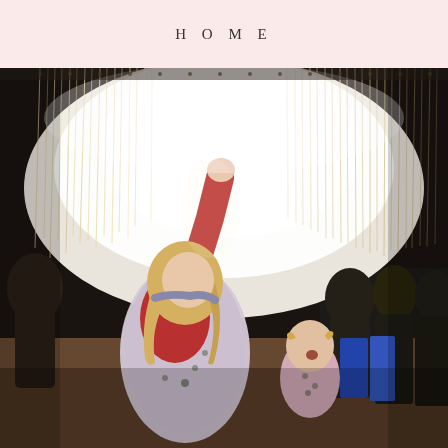HOME
[Figure (photo): Two young blonde girls in Christmas-print pajamas standing in front of a curtain of hanging white string lights at a night event. The girl in the foreground has her arm raised up toward the lights, looking up in wonder. Other people are visible in the dark background.]